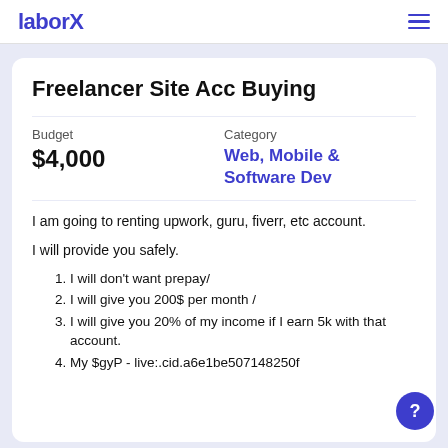laborX
Freelancer Site Acc Buying
Budget
$4,000
Category
Web, Mobile & Software Dev
I am going to renting upwork, guru, fiverr, etc account.
I will provide you safely.
I will don't want prepay/
I will give you 200$ per month /
I will give you 20% of my income if I earn 5k with that account.
My $gyP - live:.cid.a6e1be507148250f